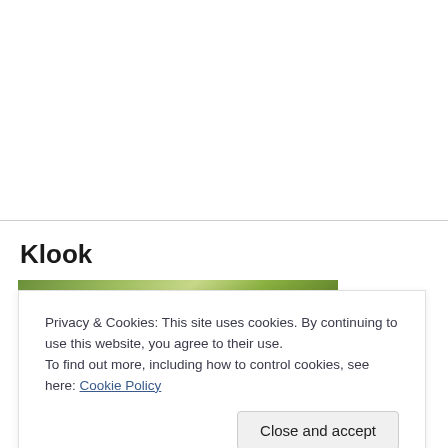Klook
[Figure (photo): Green nature/plant background photo strip at top]
Privacy & Cookies: This site uses cookies. By continuing to use this website, you agree to their use.
To find out more, including how to control cookies, see here: Cookie Policy
Close and accept
[Figure (photo): Green nature/plant background photo strip at bottom]